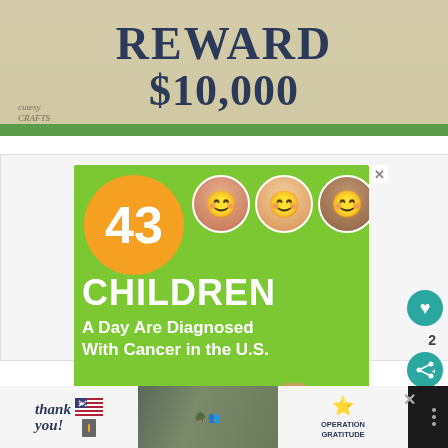[Figure (photo): A wooden sign with dark blue bold text reading 'REWARD $10,000' against a tan/beige background with a green support post, watermark reading 'cutesy crafts' in bottom left corner]
[Figure (photo): Advertisement with green background showing '43 CHILDREN A Day Are Diagnosed With Cancer in the U.S.' with photos of three smiling children and a Girl Scout cookies promotion. Close button X in top right corner.]
[Figure (photo): Bottom advertisement bar showing 'Thank you!' with American flag graphic, soldiers photo, and Operation Gratitude logo on dark background]